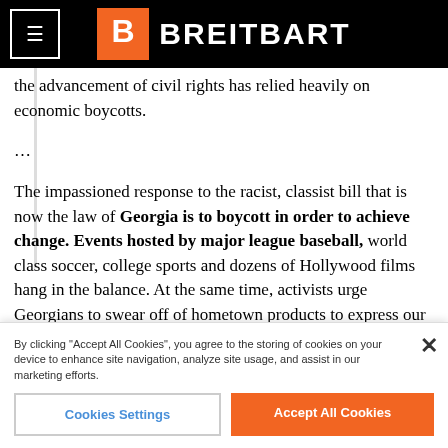BREITBART
the advancement of civil rights has relied heavily on economic boycotts.
...
The impassioned response to the racist, classist bill that is now the law of Georgia is to boycott in order to achieve change. Events hosted by major league baseball, world class soccer, college sports and dozens of Hollywood films hang in the balance. At the same time, activists urge Georgians to swear off of hometown products to express our outrage. Until we hear clear, unequivocal statements that show Georgia-based companies get what's at stake, I can't argue with an individual's choice to opt for their
By clicking "Accept All Cookies", you agree to the storing of cookies on your device to enhance site navigation, analyze site usage, and assist in our marketing efforts.
Cookies Settings
Accept All Cookies